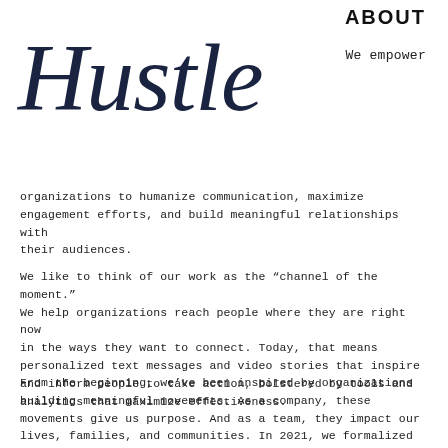ABOUT
Hustle
We empower
organizations to humanize communication, maximize engagement efforts, and build meaningful relationships with their audiences.
We like to think of our work as the “channel of the moment.” We help organizations reach people where they are right now in the ways they want to connect. Today, that means personalized text messages and video stories that inspire and inform people to take action, bolstered by tools and analytics that maximize effectiveness.
From the beginning, we’ve been inspired by organizations building meaningful movements. As a company, these movements give us purpose. And as a team, they impact our lives, families, and communities. In 2021, we formalized our